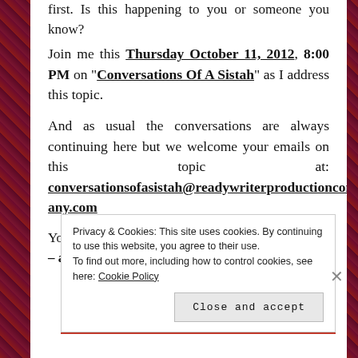first. Is this happening to you or someone you know?
Join me this Thursday October 11, 2012, 8:00 PM on "Conversations Of A Sistah" as I address this topic.
And as usual the conversations are always continuing here but we welcome your emails on this topic at: conversationsofasistah@readywriterproductioncompany.com
You can access the show at the link —-> here!!! – and I'll meet “you all” on the air!!!
Privacy & Cookies: This site uses cookies. By continuing to use this website, you agree to their use. To find out more, including how to control cookies, see here: Cookie Policy
Close and accept